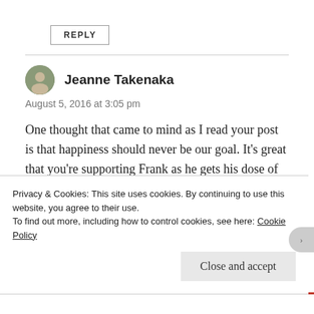REPLY
Jeanne Takenaka
August 5, 2016 at 3:05 pm
One thought that came to mind as I read your post is that happiness should never be our goal. It’s great that you’re supporting Frank as he gets his dose of adventure. I hope you get yours too. As moms, it’s easy to minimize our need for those things that fill
Privacy & Cookies: This site uses cookies. By continuing to use this website, you agree to their use.
To find out more, including how to control cookies, see here: Cookie Policy
Close and accept